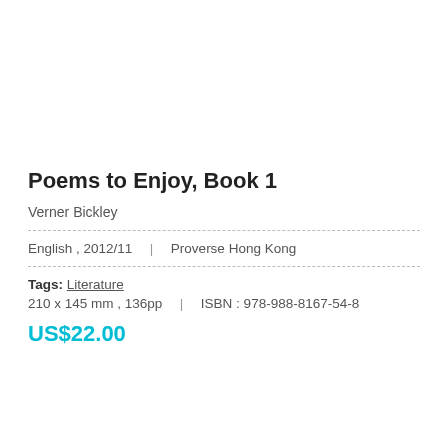Poems to Enjoy, Book 1
Verner Bickley
English , 2012/11  |  Proverse Hong Kong
Tags: Literature
210 x 145 mm , 136pp  |  ISBN : 978-988-8167-54-8
US$22.00